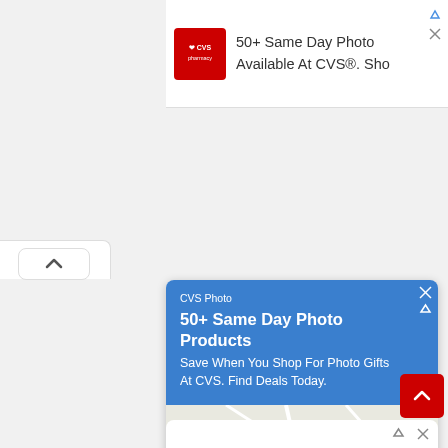[Figure (screenshot): Top ad banner: CVS Pharmacy logo (red square with heart) and text '50+ Same Day Photo Available At CVS®. Sho...']
[Figure (screenshot): Main CVS Photo ad card with blue header showing '50+ Same Day Photo Products / Save When You Shop For Photo Gifts At CVS. Find Deals Today.' and a Google Maps section showing Lotte Plaza Market - Ashburn, with Store info and Directions buttons]
[Figure (screenshot): Bottom Duracell ad partially visible with battery product image]